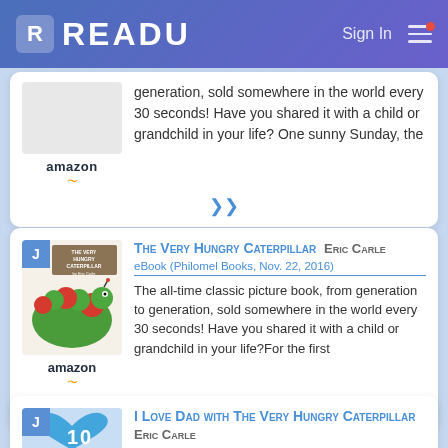READU — Sign In
generation, sold somewhere in the world every 30 seconds! Have you shared it with a child or grandchild in your life? One sunny Sunday, the
The Very Hungry Caterpillar  ERIC CARLE
eBook (Philomel Books, Nov. 22, 2016)
The all-time classic picture book, from generation to generation, sold somewhere in the world every 30 seconds! Have you shared it with a child or grandchild in your life?For the first
I Love Dad with The Very Hungry Caterpillar  ERIC CARLE
Hardcover (World of Eric Carle, Feb. 27, 2018)